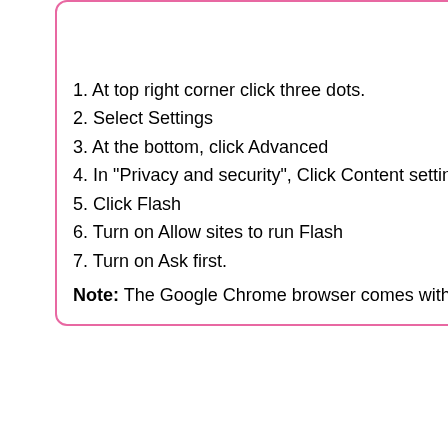If game
In Chrome
Al
1. At top right corner click three dots.
2. Select Settings
3. At the bottom, click Advanced
4. In "Privacy and security", Click Content settings
5. Click Flash
6. Turn on Allow sites to run Flash
7. Turn on Ask first.
1. Click Lock
2. Go to Flas
3. Select Alw
4. Reload the
Note: The Google Chrome browser comes with the Flash player p
The source of the best free online games !! We are providing high compatible and versatile, they can be played anytime, anywhere, via art production and programming teams, we are delivering the finest delivering high quality games. We intensively support as well as enc
Free Online Games   Games2dress   Free Games Online
Bigescapegames   Sports Games   Girls Game